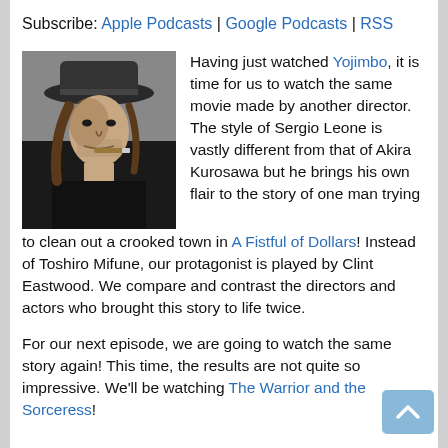Subscribe: Apple Podcasts | Google Podcasts | RSS
[Figure (photo): Black and white photo of Clint Eastwood wearing a wide-brim hat and smoking a cigar]
Having just watched Yojimbo, it is time for us to watch the same movie made by another director.  The style of Sergio Leone is vastly different from that of Akira Kurosawa but he brings his own flair to the story of one man trying to clean out a crooked town in A Fistful of Dollars!  Instead of Toshiro Mifune, our protagonist is played by Clint Eastwood.  We compare and contrast the directors and actors who brought this story to life twice.
For our next episode, we are going to watch the same story again! This time, the results are not quite so impressive.  We'll be watching The Warrior and the Sorceress!